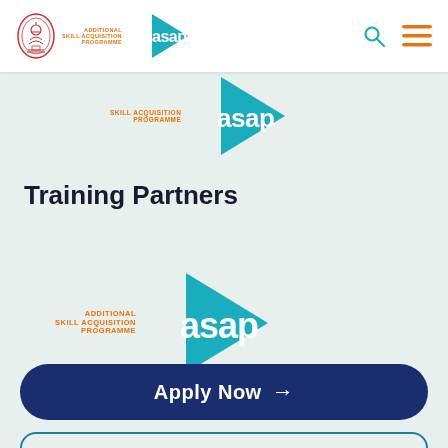[Figure (logo): ASAP (Additional Skill Acquisition Programme) logo with Kerala government emblem in navbar]
[Figure (logo): Partial ASAP logo banner strip showing top of hero section]
Training Partners
[Figure (logo): ASAP Additional Skill Acquisition Programme logo - teal play-button triangle with asap text and orange label text]
Apply Now →